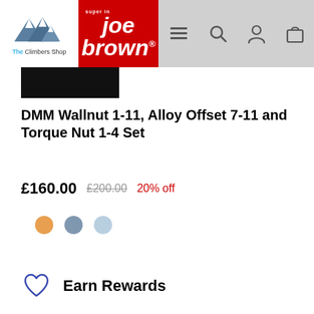The Climbers Shop / Joe Brown
[Figure (screenshot): Black product thumbnail image partially visible at top]
DMM Wallnut 1-11, Alloy Offset 7-11 and Torque Nut 1-4 Set
£160.00  £200.00  20% off
[Figure (other): Three color selector dots: orange, blue-grey, light blue]
Earn  Rewards